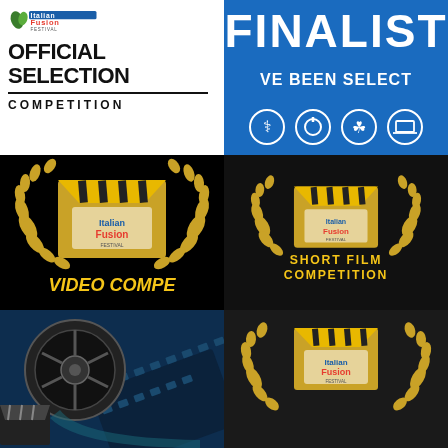[Figure (logo): Italian Fusion Festival official selection competition card — white background with logo, text OFFICIAL SELECTION and COMPETITION]
[Figure (illustration): Blue finalist card with FINALIST and VE BEEN SELECT text, icons row at bottom on blue background]
[Figure (logo): Black card with Italian Fusion Festival clapperboard and laurel wreath — VIDEO COMPE label at bottom in gold italic]
[Figure (logo): Dark card with Italian Fusion Festival clapperboard and laurel wreath — SHORT FILM COMPETITION label in gold]
[Figure (photo): Dark blue background with film reel and clapperboard]
[Figure (logo): Dark card with Italian Fusion Festival clapperboard and laurel wreath, smaller version]